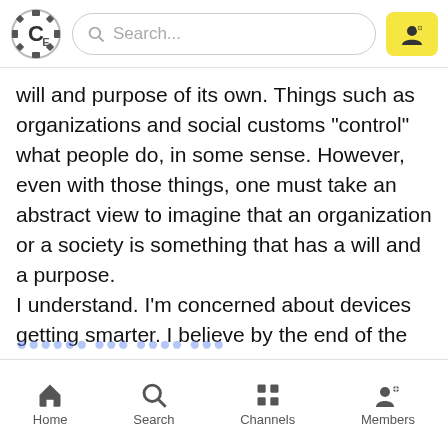[Figure (screenshot): App top header bar with logo (gear C icon), search bar, and yellow user button]
will and purpose of its own. Things such as organizations and social customs "control" what people do, in some sense. However, even with those things, one must take an abstract view to imagine that an organization or a society is something that has a will and a purpose. I understand. I'm concerned about devices getting smarter. I believe by the end of the century, we'll actually have thinking machines and they'll be able to decide whether they want to follow human instructions. I think we're taking baby steps closer to artificial intelligence.
[Figure (screenshot): Bottom navigation bar with Home, Search, Channels, Members icons]